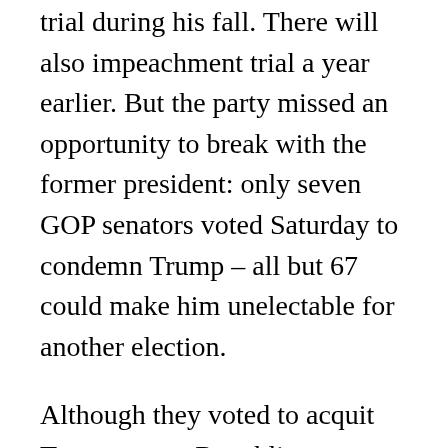trial during his fall. There will also impeachment trial a year earlier. But the party missed an opportunity to break with the former president: only seven GOP senators voted Saturday to condemn Trump – all but 67 could make him unelectable for another election.
Although they voted to acquit Trump, some Republicans, including McConnell, condemned his actions after the trial. Mr McConnell said Mr Trump was practically and morally responsible for causing the events of that day.
In an interview with Politico on Saturday